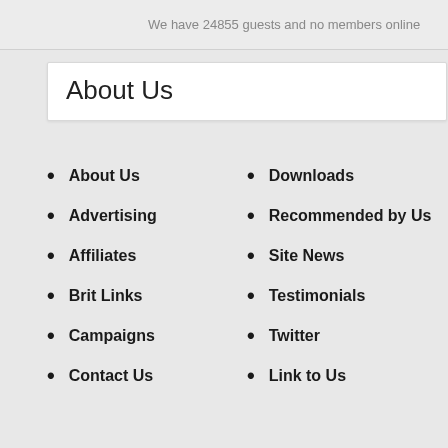We have 24855 guests and no members online
About Us
About Us
Advertising
Affiliates
Brit Links
Campaigns
Contact Us
Downloads
Recommended by Us
Site News
Testimonials
Twitter
Link to Us